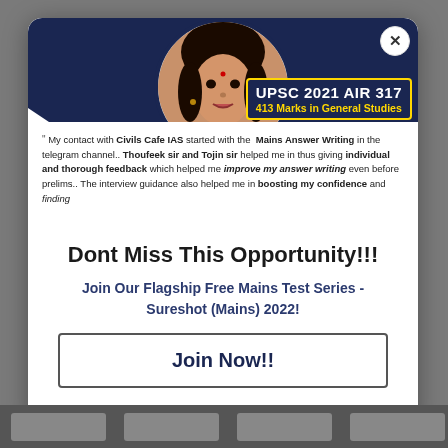[Figure (photo): Modal popup showing a female student's profile photo in a circular frame on a dark navy background. A rank badge shows UPSC 2021 AIR 317 and 413 Marks in General Studies. There is a close X button in the top-right corner of the modal.]
" My contact with Civils Cafe IAS started with the Mains Answer Writing in the telegram channel.. Thoufeek sir and Tojin sir helped me in thus giving individual and thorough feedback which helped me improve my answer writing even before prelims.. The interview guidance also helped me in boosting my confidence and finding
Dont Miss This Opportunity!!!
Join Our Flagship Free Mains Test Series - Sureshot (Mains) 2022!
Join Now!!